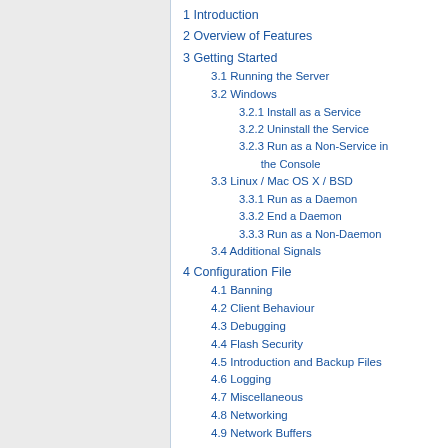1 Introduction
2 Overview of Features
3 Getting Started
3.1 Running the Server
3.2 Windows
3.2.1 Install as a Service
3.2.2 Uninstall the Service
3.2.3 Run as a Non-Service in the Console
3.3 Linux / Mac OS X / BSD
3.3.1 Run as a Daemon
3.3.2 End a Daemon
3.3.3 Run as a Non-Daemon
3.4 Additional Signals
4 Configuration File
4.1 Banning
4.2 Client Behaviour
4.3 Debugging
4.4 Flash Security
4.5 Introduction and Backup Files
4.6 Logging
4.7 Miscellaneous
4.8 Networking
4.9 Network Buffers